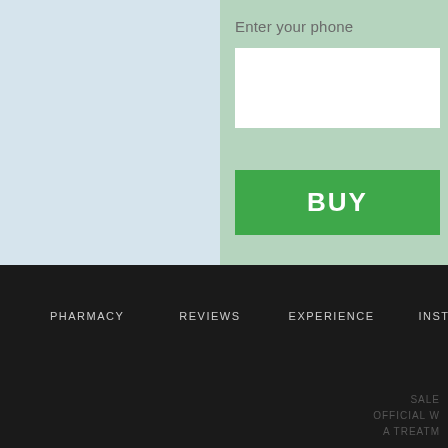Enter your phone
[Figure (screenshot): White input field for entering phone number]
BUY
PHARMACY
REVIEWS
EXPERIENCE
INSTR
SALE
OFFICIAL W
A TREATM